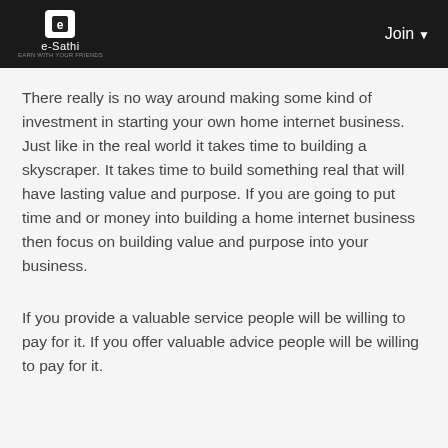e-Sathi | Join
There really is no way around making some kind of investment in starting your own home internet business. Just like in the real world it takes time to building a skyscraper. It takes time to build something real that will have lasting value and purpose. If you are going to put time and or money into building a home internet business then focus on building value and purpose into your business.
If you provide a valuable service people will be willing to pay for it. If you offer valuable advice people will be willing to pay for it.